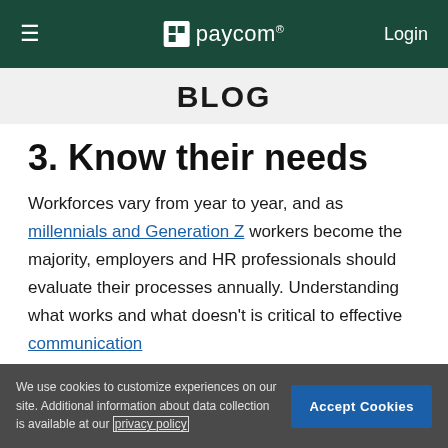≡  paycom®  Login
BLOG
3. Know their needs
Workforces vary from year to year, and as millennials and Generation Z workers become the majority, employers and HR professionals should evaluate their processes annually. Understanding what works and what doesn't is critical to effective communication
We use cookies to customize experiences on our site. Additional information about data collection is available at our privacy policy